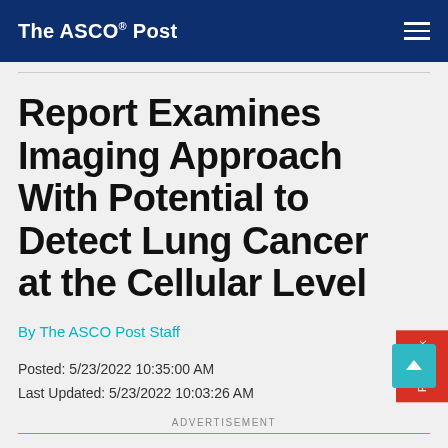The ASCO Post
Report Examines Imaging Approach With Potential to Detect Lung Cancer at the Cellular Level
By The ASCO Post Staff
Posted: 5/23/2022 10:35:00 AM
Last Updated: 5/23/2022 10:03:26 AM
ADVERTISEMENT